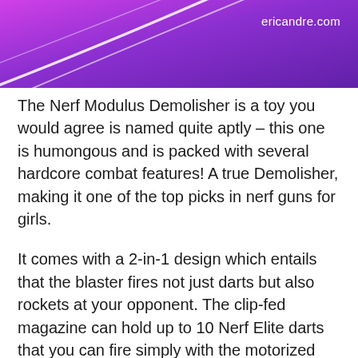[Figure (illustration): Purple/magenta gradient banner header with curved white decorative lines and the URL 'ericandre.com' in white text at the top right]
The Nerf Modulus Demolisher is a toy you would agree is named quite aptly – this one is humongous and is packed with several hardcore combat features! A true Demolisher, making it one of the top picks in nerf guns for girls.
It comes with a 2-in-1 design which entails that the blaster fires not just darts but also rockets at your opponent. The clip-fed magazine can hold up to 10 Nerf Elite darts that you can fire simply with the motorized blasting mechanism.
Upon pump-action blasting, you can unleash